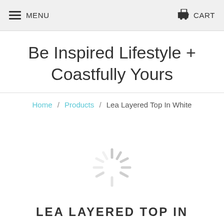MENU  CART
Be Inspired Lifestyle + Coastfully Yours
Home / Products / Lea Layered Top In White
[Figure (other): Loading spinner animation — circular spinner with light gray spokes radiating from center]
LEA LAYERED TOP IN